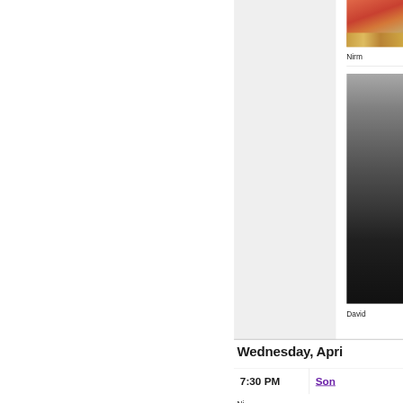[Figure (photo): Partial view of a person in coral/red outfit with gold embellishments, cropped at right edge]
Nirm
[Figure (photo): Grayscale photo of a person, dark tones, cropped at right edge]
David
Wednesday, Apri
7:30 PM
Son